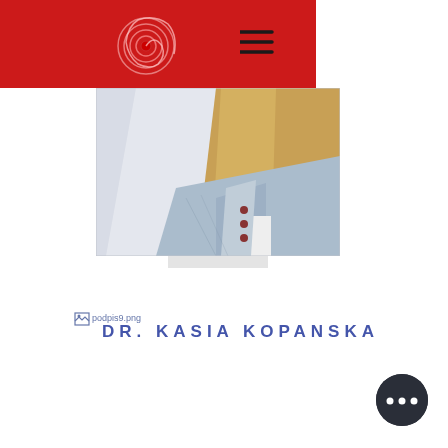[Figure (logo): Red header bar with spiral logo and hamburger menu icon]
[Figure (photo): Fashion photo of a young woman with long blonde hair, wearing a denim jacket and white shirt, with a dark hat, on a light background]
[Figure (other): Gray rectangle shadow below the photo]
podpis9.png
DR. KASIA KOPANSKA
[Figure (other): Dark circular button with three white dots]